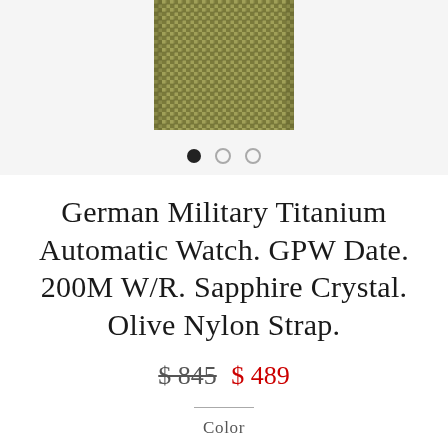[Figure (photo): Close-up of an olive/tan colored nylon watch strap with woven texture, shown against a light gray background with image carousel dots below.]
German Military Titanium Automatic Watch. GPW Date. 200M W/R. Sapphire Crystal. Olive Nylon Strap.
$ 845  $ 489
Color